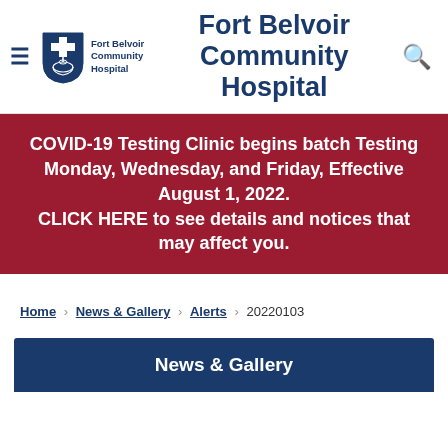Fort Belvoir Community Hospital
[Figure (logo): Fort Belvoir Community Hospital shield logo with cross and capitol dome]
Fort Belvoir Community Hospital
COVID-19 Testing Clinic begins batch Testing Monday, Wednesday, and Friday, Effective August 1, 2022. CLICK HERE to see details and notices that may affect you.
Home > News & Gallery > Alerts > 20220103
News & Gallery